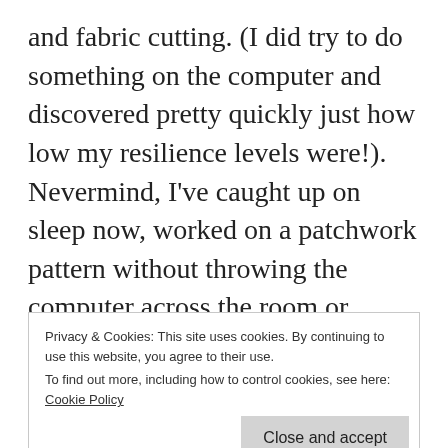and fabric cutting. (I did try to do something on the computer and discovered pretty quickly just how low my resilience levels were!). Nevermind, I've caught up on sleep now, worked on a patchwork pattern without throwing the computer across the room or bursting into tears and have had a fairly cheery WhatsApp chat with the young man in Germany 🙂
Privacy & Cookies: This site uses cookies. By continuing to use this website, you agree to their use.
To find out more, including how to control cookies, see here: Cookie Policy
up on my design wall at the moment.
The blocks are large at 16" and I'm